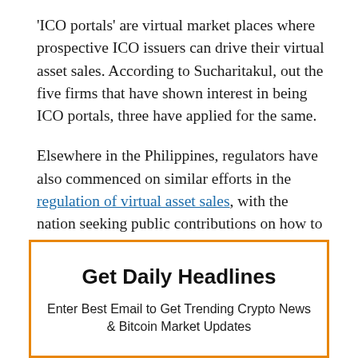'ICO portals' are virtual market places where prospective ICO issuers can drive their virtual asset sales. According to Sucharitakul, out the five firms that have shown interest in being ICO portals, three have applied for the same.
Elsewhere in the Philippines, regulators have also commenced on similar efforts in the regulation of virtual asset sales, with the nation seeking public contributions on how to let ICOs work in a controlled environment.
Get Daily Headlines
Enter Best Email to Get Trending Crypto News & Bitcoin Market Updates